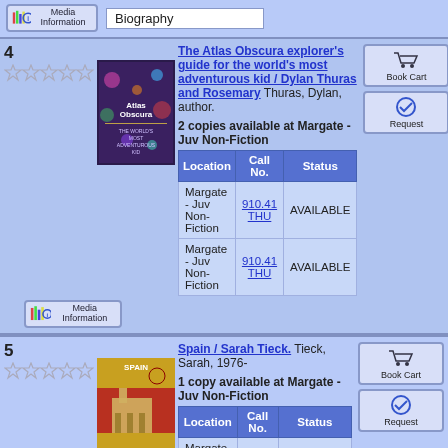Biography
[Figure (screenshot): Media Information button]
4
[Figure (illustration): Five empty star rating]
[Figure (photo): Book cover: Atlas Obscura - The World's Most Adventurous Kid]
The Atlas Obscura explorer's guide for the world's most adventurous kid / Dylan Thuras and Rosemary Thuras, Dylan, author.
2 copies available at Margate - Juv Non-Fiction
| Location | Call No. | Status |
| --- | --- | --- |
| Margate - Juv Non-Fiction | 910.41 THU | AVAILABLE |
| Margate - Juv Non-Fiction | 910.41 THU | AVAILABLE |
[Figure (screenshot): Book Cart button]
[Figure (screenshot): Request button]
[Figure (screenshot): Media Information button]
5
[Figure (illustration): Five empty star rating]
[Figure (photo): Book cover: Spain / Sarah Tieck]
Spain / Sarah Tieck. Tieck, Sarah, 1976-
1 copy available at Margate - Juv Non-Fiction
| Location | Call No. | Status |
| --- | --- | --- |
| Margate - Juv Non- |  | AVAILABLE |
[Figure (screenshot): Book Cart button]
[Figure (screenshot): Request button]
[Figure (screenshot): Media Information button]